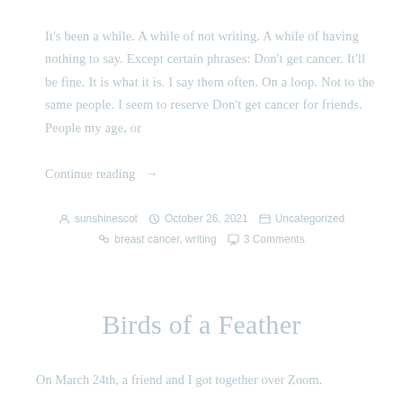It's been a while. A while of not writing. A while of having nothing to say. Except certain phrases: Don't get cancer. It'll be fine. It is what it is. I say them often. On a loop. Not to the same people. I seem to reserve Don't get cancer for friends. People my age, or
Continue reading →
sunshinescot   October 26, 2021   Uncategorized   breast cancer, writing   3 Comments
Birds of a Feather
On March 24th, a friend and I got together over Zoom.